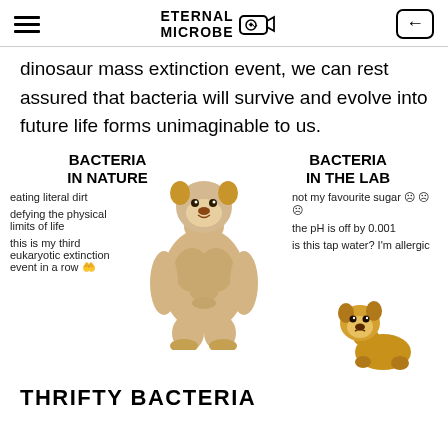ETERNAL MICROBE
dinosaur mass extinction event, we can rest assured that bacteria will survive and evolve into future life forms unimaginable to us.
[Figure (infographic): Meme comparison infographic: 'BACTERIA IN NATURE' (left, large muscular Shiba Inu dog) vs 'BACTERIA IN THE LAB' (right, small sad Cheems dog). Left side text: 'eating literal dirt', 'defying the physical limits of life', 'this is my third eukaryotic extinction event in a row 🤲'. Right side text: 'not my favourite sugar ☹☹☹', 'the pH is off by 0.001', 'is this tap water? I\'m allergic'.]
THRIFTY BACTERIA